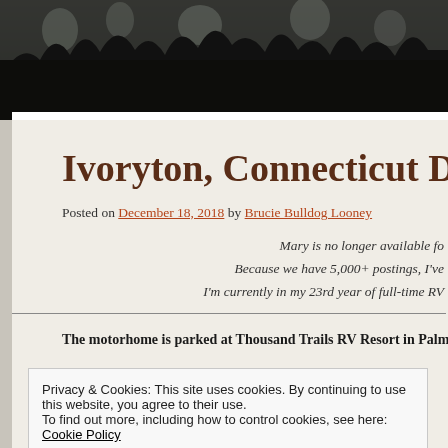[Figure (photo): Dark forest/treeline silhouette header image, dark tones with light sky visible through trees]
Ivoryton, Connecticut Day
Posted on December 18, 2018 by Brucie Bulldog Looney
Mary is no longer available fo
Because we have 5,000+ postings, I've
I'm currently in my 23rd year of full-time RV
The motorhome is parked at Thousand Trails RV Resort in Palm Des
Privacy & Cookies: This site uses cookies. By continuing to use this website, you agree to their use.
To find out more, including how to control cookies, see here: Cookie Policy
Close and accept
Since my RVing life is changing (see above), I'm starting to re-visit p